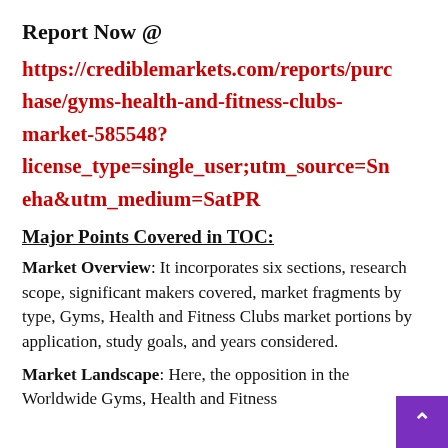Report Now @
https://crediblemarkets.com/reports/purchase/gyms-health-and-fitness-clubs-market-585548?license_type=single_user;utm_source=Sneha&utm_medium=SatPR
Major Points Covered in TOC:
Market Overview: It incorporates six sections, research scope, significant makers covered, market fragments by type, Gyms, Health and Fitness Clubs market portions by application, study goals, and years considered.
Market Landscape: Here, the opposition in the Worldwide Gyms, Health and Fitness